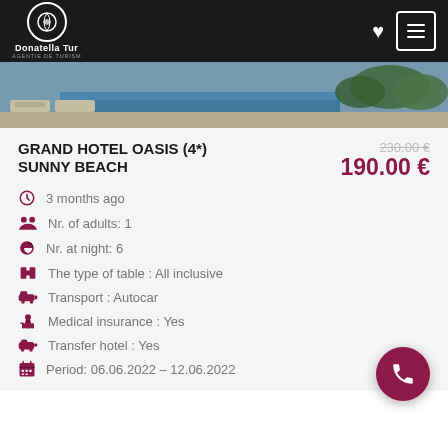Donatella Tur
[Figure (photo): Hotel pool area with lounge chairs and palm trees, aerial/outdoor view]
GRAND HOTEL OASIS (4*) SUNNY BEACH
230.00 € (strikethrough original price)
190.00 €
3 months ago
Nr. of adults: 1
Nr. at night: 6
The type of table : All inclusive
Transport : Autocar
Medical insurance : Yes
Transfer hotel : Yes
Period: 06.06.2022 – 12.06.2022